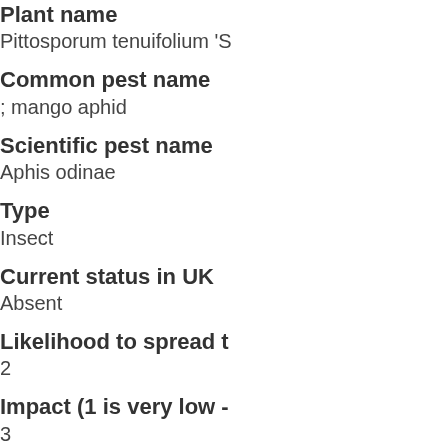Plant name
Pittosporum tenuifolium 'S
Common pest name
; mango aphid
Scientific pest name
Aphis odinae
Type
Insect
Current status in UK
Absent
Likelihood to spread t
2
Impact (1 is very low -
3
General biosecurity co
Aphid pest unlikely to surv pytosanitary risk.
About this section
Our plants are under grea movement of plants and o source. This increases th